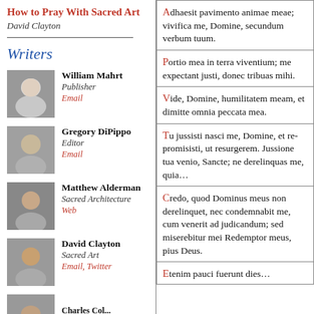How to Pray With Sacred Art
David Clayton
Writers
William Mahrt
Publisher
Email
Gregory DiPippo
Editor
Email
Matthew Alderman
Sacred Architecture
Web
David Clayton
Sacred Art
Email, Twitter
Adhaesit pavimento ani... vivifica me, Domine, sec... verbum tuum.
Portio mea in terra vive... me expectant justi, don... buas mihi.
Vide, Domine, humilitat... am, et dimitte omnia pe... mea.
Tu jussisti nasci me, Do... repromisisti, ut resurge... Jussione tua venio, San... ne derelinquas me, quia...
Credo, quod Dominus m... derelinquet, nec conde... me, cum venerit ad judi... sed miserebitur mei Re... meus, pius Deus.
Etenim pauci fuerunt d...